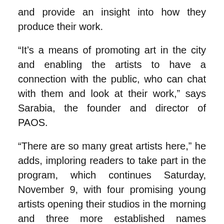and provide an insight into how they produce their work.
“It’s a means of promoting art in the city and enabling the artists to have a connection with the public, who can chat with them and look at their work,” says Sarabia, the founder and director of PAOS.
“There are so many great artists here,” he adds, imploring readers to take part in the program, which continues Saturday, November 9, with four promising young artists opening their studios in the morning and three more established names following suite in the afternoon.
First up are the studios of Adrian S. Bara (Colonias 467, Colonia Americana), Mario Navarro (España 2049, Colonia Moderna) and Maria Fernanda Camarena and Guillermo Guarino (Pedro Moreno 1320, Colonia Americana), which will be open from 11 a.m. until 3...